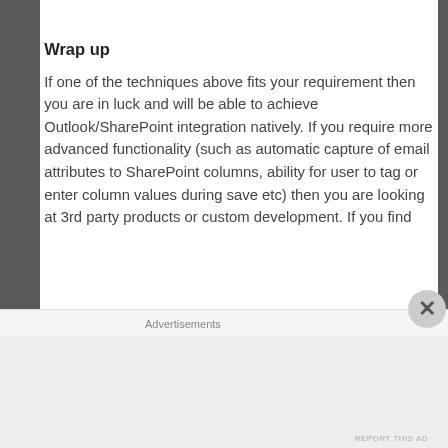Wrap up
If one of the techniques above fits your requirement then you are in luck and will be able to achieve Outlook/SharePoint integration natively. If you require more advanced functionality (such as automatic capture of email attributes to SharePoint columns, ability for user to tag or enter column values during save etc) then you are looking at 3rd party products or custom development. If you find
Advertisements